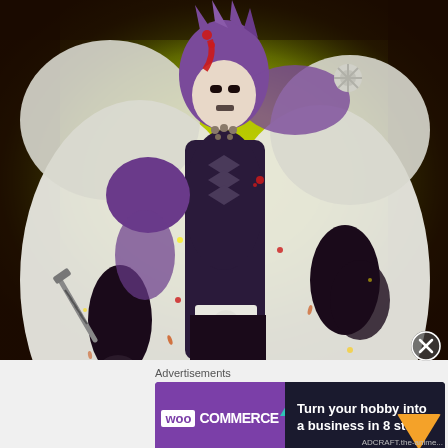[Figure (illustration): Anime illustration of a large muscular character with purple hair, wearing a white haori (coat) with fur trim and dark hakama. The character has markings on his face, multiple necklaces, and dark gauntlets. There is blood splattered on the coat. The background features a dramatic yellow-green energy aura with dark swirling edges. A sword hilt is visible at the lower left.]
Advertisements
[Figure (other): WooCommerce advertisement banner with purple left section showing WooCommerce logo and dark right section with text 'Turn your hobby into a business in 8 steps'. Teal and orange decorative triangles.]